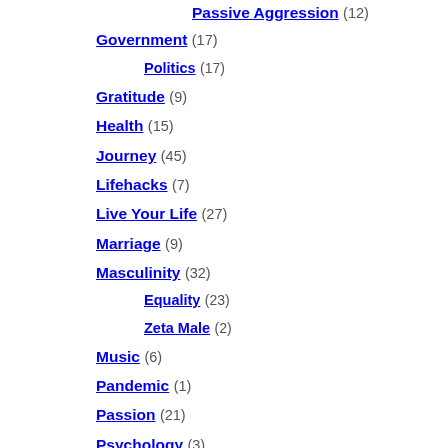Passive Aggression (12)
Government (17)
Politics (17)
Gratitude (9)
Health (15)
Journey (45)
Lifehacks (7)
Live Your Life (27)
Marriage (9)
Masculinity (32)
Equality (23)
Zeta Male (2)
Music (6)
Pandemic (1)
Passion (21)
Psychology (3)
Spiritual (22)
Untether (11)